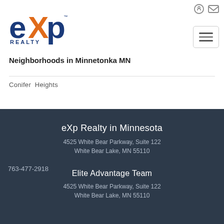[Figure (logo): eXp Realty logo with orange X and blue text]
Neighborhoods in Minnetonka MN
Conifer Heights
eXp Realty in Minnesota
4525 White Bear Parkway, Suite 122
White Bear Lake, MN 55110
763-477-2918
Elite Advantage Team
4525 White Bear Parkway, Suite 122
White Bear Lake, MN 55110